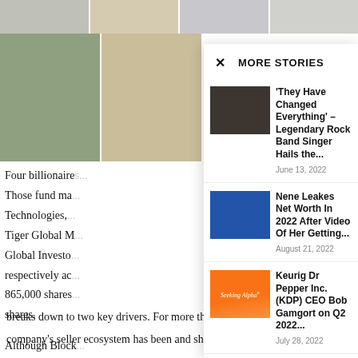[Figure (photo): Top banner with fashion/celebrity photos]
[Figure (photo): Left column fashion photos]
Four billionaire...
Those fund ma...
Technologies,...
Tiger Global M...
Global Investo...
respectively ac...
865,000 shares...
shares.
Although Block...
MORE STORIES
[Figure (photo): Celebrity photo - woman with braids]
'They Have Changed Everything' – Legendary Rock Band Singer Hails the...
June 13, 2022
[Figure (photo): Celebrity photo - woman at sports event]
Nene Leakes Net Worth In 2022 After Video Of Her Getting...
August 21, 2022
[Figure (logo): Seeking Alpha logo on orange background]
Keurig Dr Pepper Inc. (KDP) CEO Bob Gamgort on Q2 2022...
July 28, 2022
breaks down to two key drivers. For more than a decade, the
company's seller ecosystem has been and should continue to